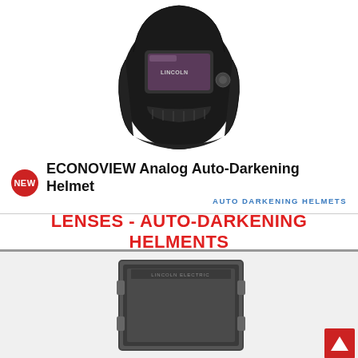[Figure (photo): Black auto-darkening welding helmet (ECONOVIEW) with tinted lens viewport and adjustment knob, shown on white background]
ECONOVIEW Analog Auto-Darkening Helmet
AUTO DARKENING HELMETS
LENSES - AUTO-DARKENING HELMENTS
[Figure (photo): Auto-darkening replacement lens for welding helmet, dark tinted rectangular panel with frame]